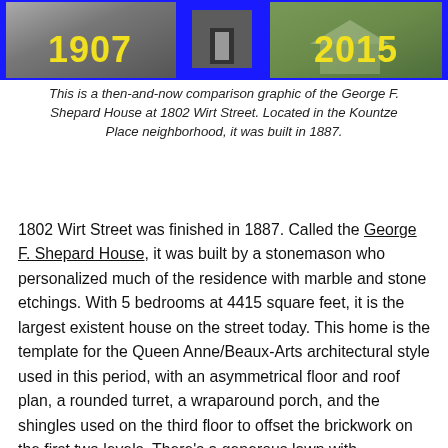[Figure (infographic): Then-and-now comparison banner showing the George F. Shepard House. Blue background with yellow year labels '1907' on the left and '2015' on the right, with historical and modern photographs of the house.]
This is a then-and-now comparison graphic of the George F. Shepard House at 1802 Wirt Street. Located in the Kountze Place neighborhood, it was built in 1887.
1802 Wirt Street was finished in 1887. Called the George F. Shepard House, it was built by a stonemason who personalized much of the residence with marble and stone etchings. With 5 bedrooms at 4415 square feet, it is the largest existent house on the street today. This home is the template for the Queen Anne/Beaux-Arts architectural style used in this period, with an asymmetrical floor and roof plan, a rounded turret, a wraparound porch, and the shingles used on the third floor to offset the brickwork on the first two levels. There’s a generous lawn with historically accurate flora throughout it, all of which is well-kept.